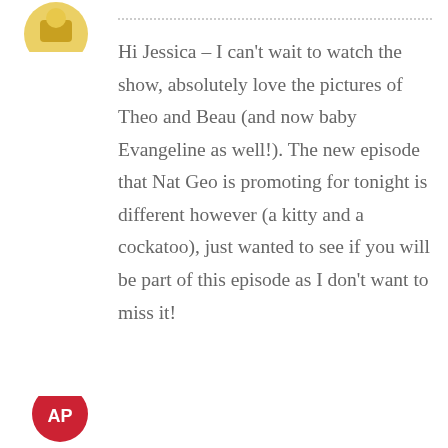[Figure (illustration): Partial avatar/logo icon visible at top left]
Hi Jessica – I can't wait to watch the show, absolutely love the pictures of Theo and Beau (and now baby Evangeline as well!). The new episode that Nat Geo is promoting for tonight is different however (a kitty and a cockatoo), just wanted to see if you will be part of this episode as I don't want to miss it!
REPLY
[Figure (illustration): Partial avatar/logo icon visible at bottom left]